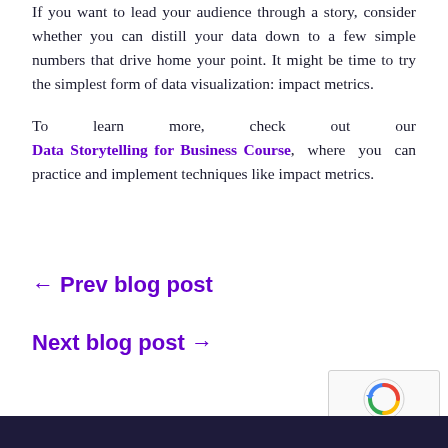If you want to lead your audience through a story, consider whether you can distill your data down to a few simple numbers that drive home your point. It might be time to try the simplest form of data visualization: impact metrics.
To learn more, check out our Data Storytelling for Business Course, where you can practice and implement techniques like impact metrics.
← Prev blog post
Next blog post →